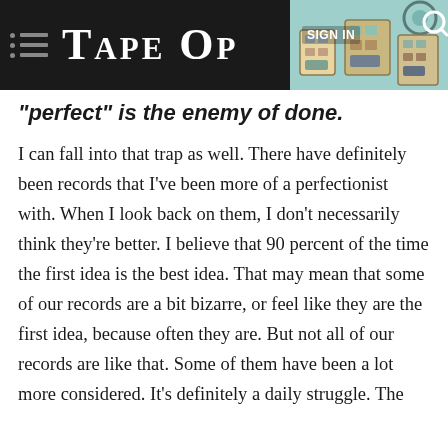TAPE OP
“perfect” is the enemy of done.
I can fall into that trap as well. There have definitely been records that I’ve been more of a perfectionist with. When I look back on them, I don’t necessarily think they’re better. I believe that 90 percent of the time the first idea is the best idea. That may mean that some of our records are a bit bizarre, or feel like they are the first idea, because often they are. But not all of our records are like that. Some of them have been a lot more considered. It’s definitely a daily struggle. The